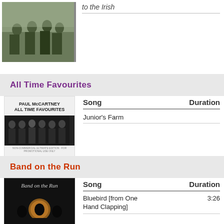to the Irish
All Time Favourites
[Figure (photo): Paul McCartney All Time Favourites album cover, black and white photo of band members]
| Song | Duration |
| --- | --- |
| Junior's Farm |  |
Band on the Run
[Figure (photo): Band on the Run album cover, dark background with cursive title text]
| Song | Duration |
| --- | --- |
| Bluebird [from One Hand Clapping] | 3:26 |